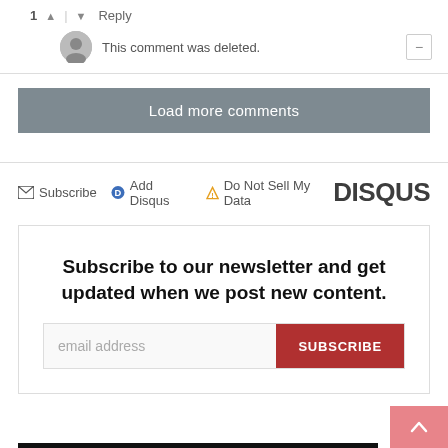1 ^ | v Reply
This comment was deleted.
Load more comments
Subscribe   Add Disqus   Do Not Sell My Data   DISQUS
Subscribe to our newsletter and get updated when we post new content.
email address  SUBSCRIBE